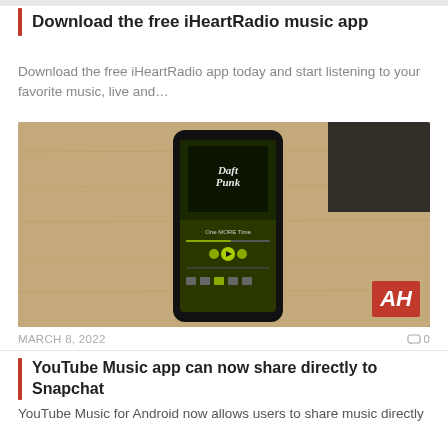Download the free iHeartRadio music app
Download the free iHeartRadio app today and start listening to your favorite music, live and…
[Figure (photo): A smartphone displaying what appears to be a music streaming app (Daft Punk - One More Time) with a green/dark screen, placed on a wooden surface. A red 'MUSIC APP' badge is in the top left corner and 'AH' logo in the bottom right corner.]
MARCH 8, 2022
0
YouTube Music app can now share directly to Snapchat
YouTube Music for Android now allows users to share music directly